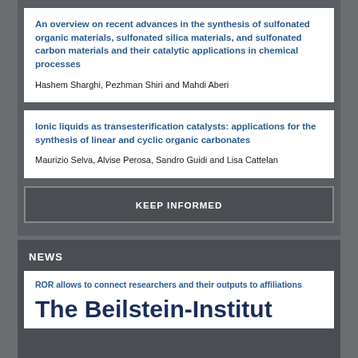An overview on recent advances in the synthesis of sulfonated organic materials, sulfonated silica materials, and sulfonated carbon materials and their catalytic applications in chemical processes
Hashem Sharghi, Pezhman Shiri and Mahdi Aberi
Ionic liquids as transesterification catalysts: applications for the synthesis of linear and cyclic organic carbonates
Maurizio Selva, Alvise Perosa, Sandro Guidi and Lisa Cattelan
KEEP INFORMED
NEWS
ROR allows to connect researchers and their outputs to affiliations
The Beilstein-Institut